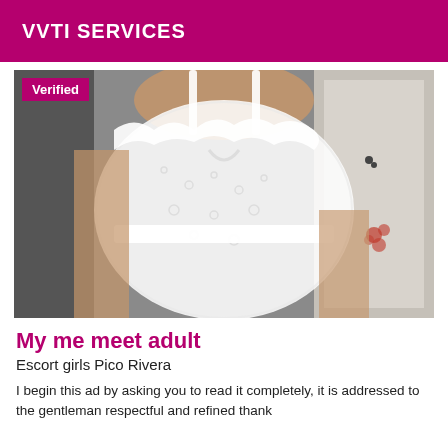VVTI SERVICES
[Figure (photo): Person wearing a white lace lingerie top, indoor setting with white door/wardrobe in background. A purple 'Verified' badge appears in the top-left corner of the photo.]
My me meet adult
Escort girls Pico Rivera
I begin this ad by asking you to read it completely, it is addressed to the gentleman respectful and refined thank